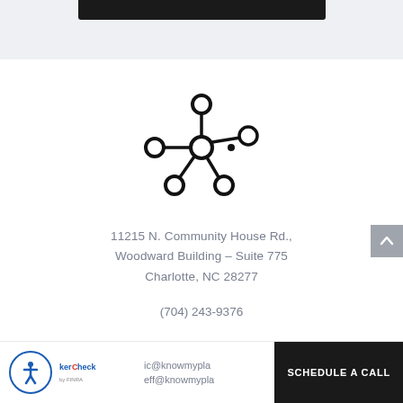[Figure (logo): Network/hub icon with central node connected to 5 outer nodes]
11215 N. Community House Rd.,
Woodward Building – Suite 775
Charlotte, NC 28277
(704) 243-9376
ic@knowmyplan
eff@knowmyplan
[Figure (logo): BrokerCheck by FINRA logo with accessibility icon]
SCHEDULE A CALL